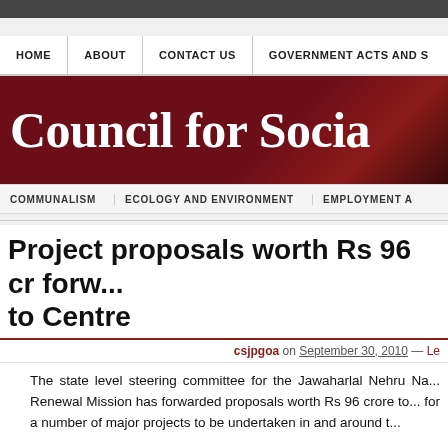HOME | ABOUT | CONTACT US | GOVERNMENT ACTS AND S...
[Figure (logo): Council for Socia... banner with dark red background and white serif text]
COMMUNALISM   ECOLOGY AND ENVIRONMENT   EMPLOYMENT A...
Project proposals worth Rs 96 cr forw... to Centre
csjpgoa on September 30, 2010 — Le...
The state level steering committee for the Jawaharlal Nehru Na... Renewal Mission has forwarded proposals worth Rs 96 crore to... for a number of major projects to be undertaken in and around t...
Panaji is the only city in the state, which has been selecte... JNNURM by the Centre. The projects include development of Mi... and Chorao jetty; re-development of entry to Viscount's house; beautification of Boca da Vaca precinct as well as Swami Viveka...